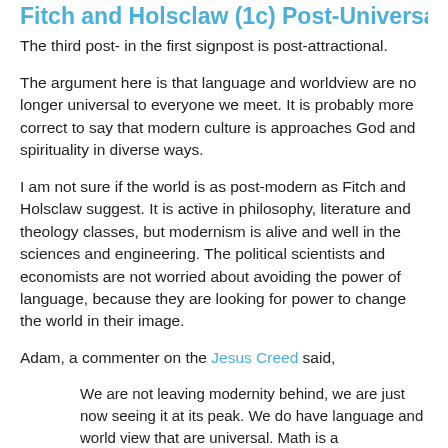Fitch and Holsclaw (1c) Post-Universal
The third post- in the first signpost is post-attractional.
The argument here is that language and worldview are no longer universal to everyone we meet. It is probably more correct to say that modern culture is approaches God and spirituality in diverse ways.
I am not sure if the world is as post-modern as Fitch and Holsclaw suggest. It is active in philosophy, literature and theology classes, but modernism is alive and well in the sciences and engineering. The political scientists and economists are not worried about avoiding the power of language, because they are looking for power to change the world in their image.
Adam, a commenter on the Jesus Creed said,
We are not leaving modernity behind, we are just now seeing it at its peak. We do have language and world view that are universal. Math is a